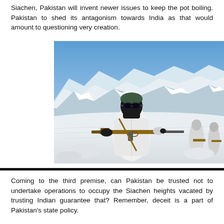Siachen, Pakistan will invent newer issues to keep the pot boiling. Pakistan to shed its antagonism towards India as that would amount to questioning very creation.
[Figure (photo): A soldier in white winter camouflage gear holding a rifle, wearing dark goggles and a balaclava, standing in a snowy mountainous landscape with snow-capped peaks in the background. Two other soldiers are visible in the background.]
Coming to the third premise, can Pakistan be trusted not to undertake operations to occupy the Siachen heights vacated by trusting Indian guarantee that? Remember, deceit is a part of Pakistan's state policy.